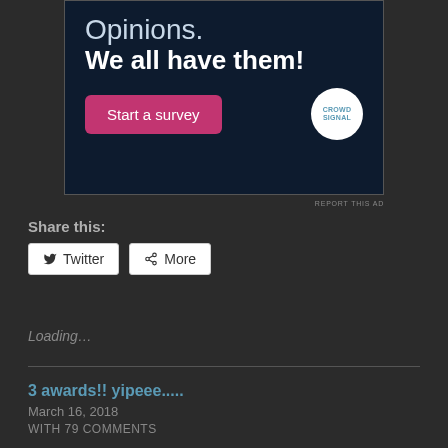[Figure (other): Advertisement banner with dark navy background. Text reads 'Opinions. We all have them!' with a pink 'Start a survey' button and Crowdsignal logo circle.]
REPORT THIS AD
Share this:
Twitter
More
Loading…
3 awards!! yipeee.....
March 16, 2018
WITH 79 COMMENTS